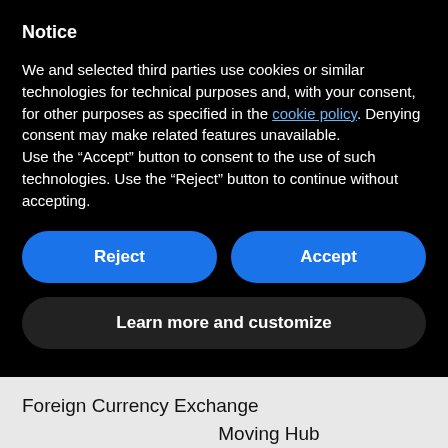Notice
We and selected third parties use cookies or similar technologies for technical purposes and, with your consent, for other purposes as specified in the cookie policy. Denying consent may make related features unavailable.
Use the “Accept” button to consent to the use of such technologies. Use the “Reject” button to continue without accepting.
Reject
Accept
Learn more and customize
Foreign Currency Exchange
Moving Hub
[Figure (illustration): Orange circular share/forward icon with a white arrow]
About PropertyPortal
Contact us